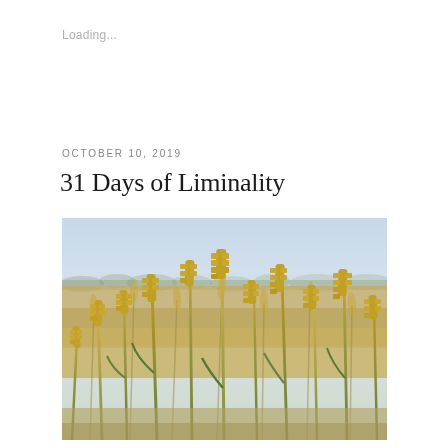Loading...
OCTOBER 10, 2019
31 Days of Liminality
[Figure (photo): Close-up photograph of golden wheat stalks in a field. The foreground shows ripe wheat ears with green stems, while the background shows a blurred golden field and a light blue-grey sky with distant tree line.]